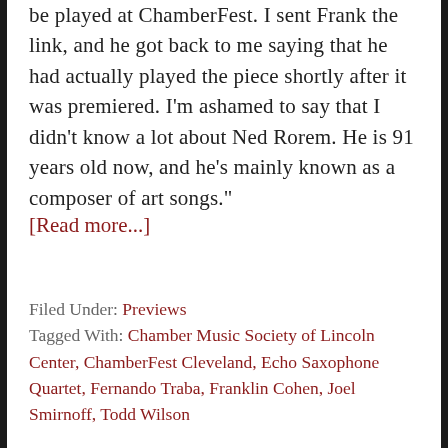be played at ChamberFest. I sent Frank the link, and he got back to me saying that he had actually played the piece shortly after it was premiered. I'm ashamed to say that I didn't know a lot about Ned Rorem. He is 91 years old now, and he's mainly known as a composer of art songs."
[Read more...]
Filed Under: Previews
Tagged With: Chamber Music Society of Lincoln Center, ChamberFest Cleveland, Echo Saxophone Quartet, Fernando Traba, Franklin Cohen, Joel Smirnoff, Todd Wilson